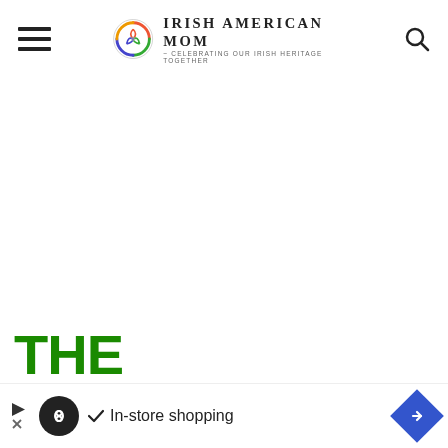Irish American Mom - Celebrating Our Irish Heritage Together
THE IMMIGRANT TALE OF GEORGE CO...
[Figure (other): Bottom advertisement banner with infinity loop icon, checkmark, 'In-store shopping' text, and blue diamond arrow button]